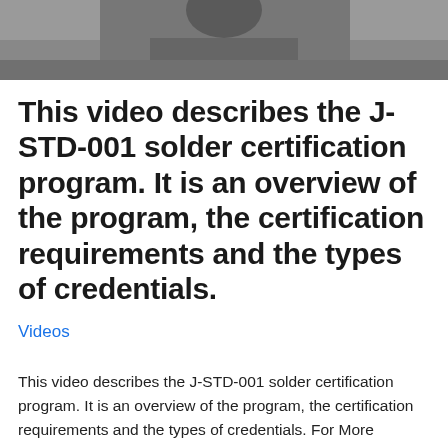[Figure (photo): Partial photo of a person wearing dark clothing, visible from shoulders up, cropped at top of page]
This video describes the J-STD-001 solder certification program. It is an overview of the program, the certification requirements and the types of credentials.
Videos
This video describes the J-STD-001 solder certification program. It is an overview of the program, the certification requirements and the types of credentials. For More Information On IPC J-STD-001 Training Visit Our Website: IPC J-STD-001 CIT Cert